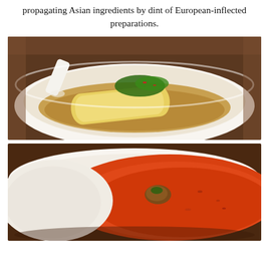propagating Asian ingredients by dint of European-inflected preparations.
[Figure (photo): A white bowl containing a yellow crepe or dumpling roll in broth, topped with fresh herb garnish and chili. A white sauce or liquid is being poured over the dish from a vessel on the left.]
[Figure (photo): A white bowl containing a vibrant orange-red soup or curry broth, with a small garnish of meat and herbs placed in the center.]